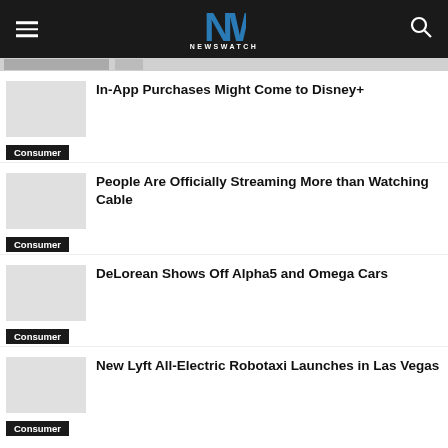NEWSWATCH
In-App Purchases Might Come to Disney+
Consumer
People Are Officially Streaming More than Watching Cable
Consumer
DeLorean Shows Off Alpha5 and Omega Cars
Consumer
New Lyft All-Electric Robotaxi Launches in Las Vegas
Consumer